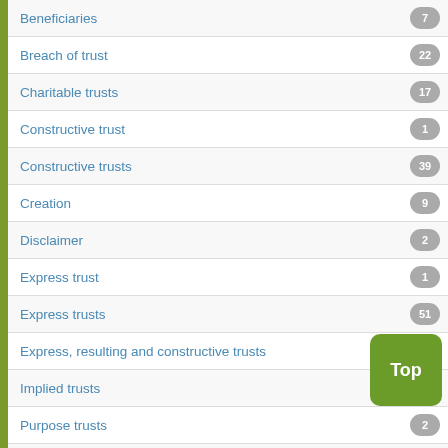Beneficiaries
Breach of trust
Charitable trusts
Constructive trust
Constructive trusts
Creation
Disclaimer
Express trust
Express trusts
Express, resulting and constructive trusts
Implied trusts
Purpose trusts
Rectification
Remedies generally
Resulting trust
RESULTING TRUSTS
Secret trusts
Termination
Trustees